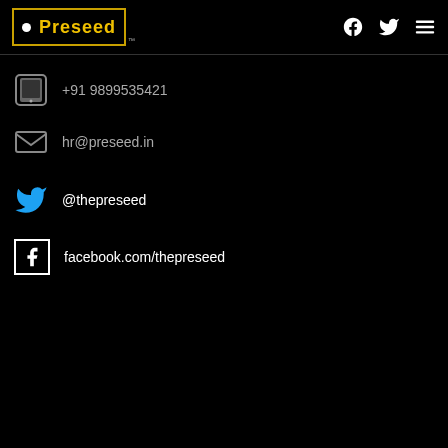Preseed
+91 9899535421
hr@preseed.in
@thepreseed
facebook.com/thepreseed